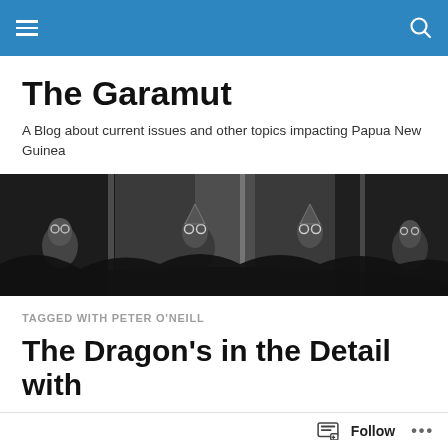The Garamut — navigation bar
The Garamut
A Blog about current issues and other topics impacting Papua New Guinea
[Figure (photo): Black and white photograph showing traditional Papua New Guinea ceremonial figures or masks partially obscured by tropical vegetation, creating a panoramic banner image.]
TAGGED WITH PETER O'NEILL
The Dragon's in the Detail with
Chinese King – Part …
Follow